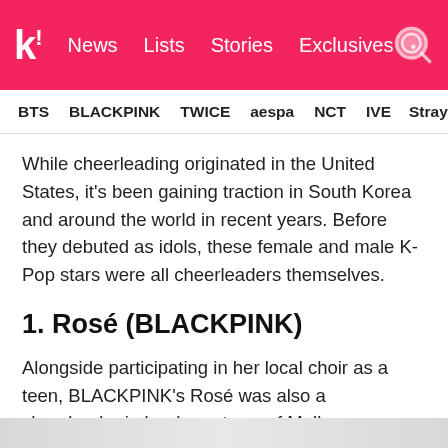koreaboo | News | Lists | Stories | Exclusives
BTS  BLACKPINK  TWICE  aespa  NCT  IVE  Stray
While cheerleading originated in the United States, it's been gaining traction in South Korea and around the world in recent years. Before they debuted as idols, these female and male K-Pop stars were all cheerleaders themselves.
1. Rosé (BLACKPINK)
Alongside participating in her local choir as a teen, BLACKPINK's Rosé was also a cheerleader in her hometown of Melbourne, Australia.
[Figure (photo): Partial bottom image strip visible at bottom of page]